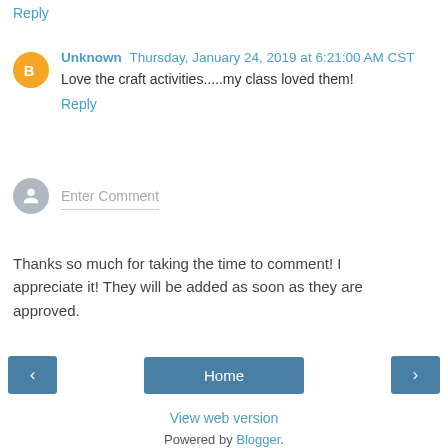Reply
Unknown  Thursday, January 24, 2019 at 6:21:00 AM CST
Love the craft activities.....my class loved them!
Reply
[Figure (other): Comment input box with generic user avatar and placeholder text 'Enter Comment']
Thanks so much for taking the time to comment! I appreciate it! They will be added as soon as they are approved.
< Home >
View web version
Powered by Blogger.